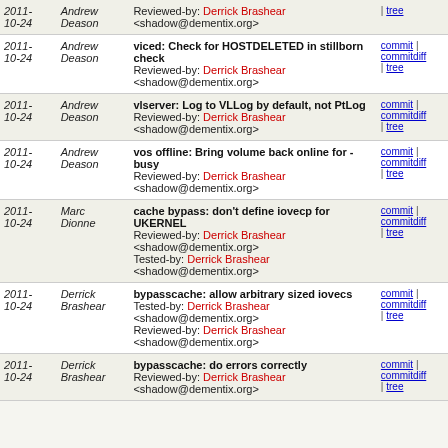| Date | Author | Message | Links |
| --- | --- | --- | --- |
| 2011-10-24 | Andrew Deason | viced: Check for HOSTDELETED in stillborn check
Reviewed-by: Derrick Brashear <shadow@dementix.org> | commit | commitdiff | tree |
| 2011-10-24 | Andrew Deason | vlserver: Log to VLLog by default, not PtLog
Reviewed-by: Derrick Brashear <shadow@dementix.org> | commit | commitdiff | tree |
| 2011-10-24 | Andrew Deason | vos offline: Bring volume back online for -busy
Reviewed-by: Derrick Brashear <shadow@dementix.org> | commit | commitdiff | tree |
| 2011-10-24 | Marc Dionne | cache bypass: don't define iovecp for UKERNEL
Reviewed-by: Derrick Brashear <shadow@dementix.org>
Tested-by: Derrick Brashear <shadow@dementix.org> | commit | commitdiff | tree |
| 2011-10-24 | Derrick Brashear | bypasscache: allow arbitrary sized iovecs
Tested-by: Derrick Brashear <shadow@dementix.org>
Reviewed-by: Derrick Brashear <shadow@dementix.org> | commit | commitdiff | tree |
| 2011-10-24 | Derrick Brashear | bypasscache: do errors correctly
Reviewed-by: Derrick Brashear <shadow@dementix.org> | commit | commitdiff | tree |